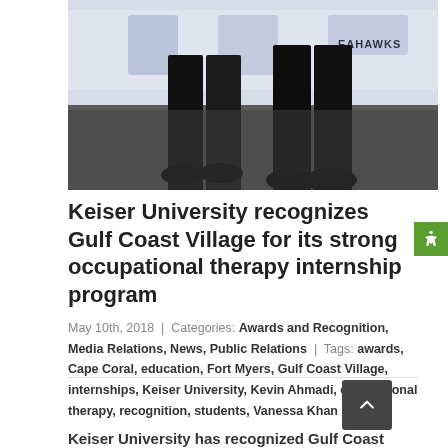[Figure (photo): Photo showing lower bodies/feet of people standing in front of a Seahawks banner backdrop. Two people wearing black dress pants and black shoes on a dark carpet floor.]
Keiser University recognizes Gulf Coast Village for its strong occupational therapy internship program
May 10th, 2018 | Categories: Awards and Recognition, Media Relations, News, Public Relations | Tags: awards, Cape Coral, education, Fort Myers, Gulf Coast Village, internships, Keiser University, Kevin Ahmadi, occupational therapy, recognition, students, Vanessa Khan
Keiser University has recognized Gulf Coast